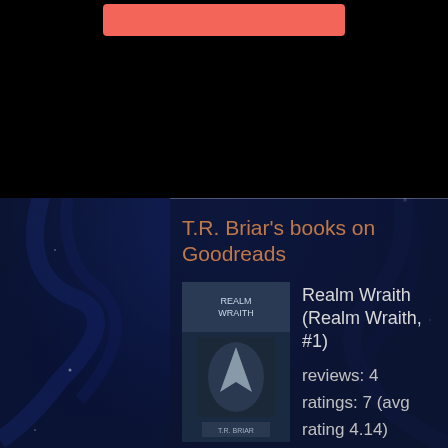T.R. Briar's books on Goodreads
Realm Wraith (Realm Wraith, #1)
reviews: 4
ratings: 7 (avg rating 4.14)
Infernal Heirs (Realm Wraith, #3)
ratings: 1 (avg rating 5.00)
Realm Wraith: Prelude
ratings: 2 (avg rating 2.50)
Seven Origins (Realm Wraith, #2)